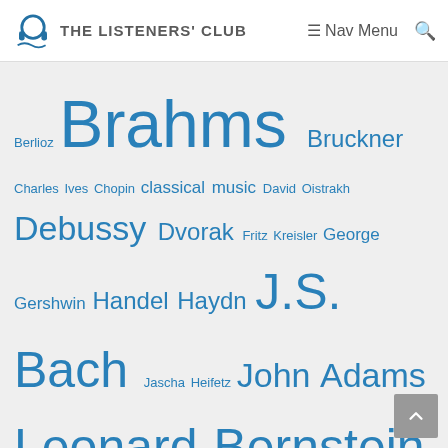THE LISTENERS' CLUB  Nav Menu
Berlioz Brahms Bruckner Charles Ives Chopin classical music David Oistrakh Debussy Dvorak Fritz Kreisler George Gershwin Handel Haydn J.S. Bach Jascha Heifetz John Adams Leonard Bernstein Mahler Mendelssohn Michael Torke Mozart New York Philharmonic opera piano Prokofiev Puccini Rachmaninov Ravel Renee Fleming Richard Strauss Samuel Barber Schubert Schumann Shostakovich Sibelius Stephen Sondheim Stravinsky Suzuki Tchaikovsky